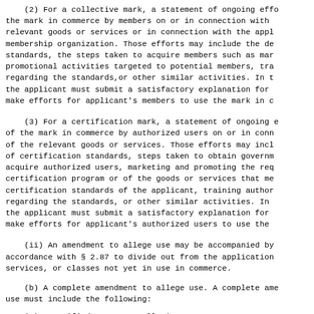(2) For a collective mark, a statement of ongoing efforts to use the mark in commerce by members on or in connection with the relevant goods or services or in connection with the applicant's membership organization. Those efforts may include the development of standards, the steps taken to acquire members such as marketing and promotional activities targeted to potential members, training members regarding the standards,or other similar activities. In the alternative, the applicant must submit a satisfactory explanation for why it cannot make efforts for applicant's members to use the mark in commerce.
(3) For a certification mark, a statement of ongoing efforts to use of the mark in commerce by authorized users on or in connection with of the relevant goods or services. Those efforts may include the development of certification standards, steps taken to obtain government approval, to acquire authorized users, marketing and promoting the requirements of the certification program or of the goods or services that meet the certification standards of the applicant, training authorized users regarding the standards, or other similar activities. In the alternative, the applicant must submit a satisfactory explanation for why it cannot make efforts for applicant's authorized users to use the mark.
(ii) An amendment to allege use may be accompanied by a request in accordance with § 2.87 to divide out from the application the goods, services, or classes not yet in use in commerce.
(b) A complete amendment to allege use. A complete amendment to allege use must include the following:
(1) A verified statement alleging: